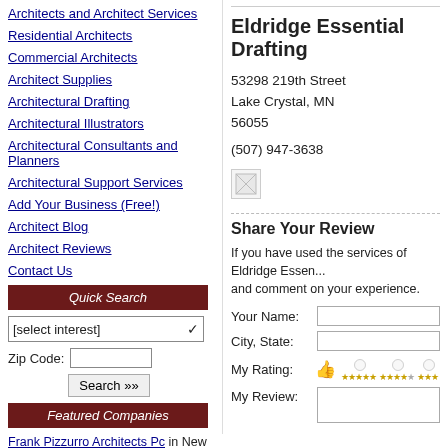Architects and Architect Services
Residential Architects
Commercial Architects
Architect Supplies
Architectural Drafting
Architectural Illustrators
Architectural Consultants and Planners
Architectural Support Services
Add Your Business (Free!)
Architect Blog
Architect Reviews
Contact Us
Quick Search
[select interest]
Zip Code:
Search »»
Featured Companies
Frank Pizzurro Architects Pc in New York, NY
Phoenix Architectural Inc in Medford, NJ
Eldridge Essential Drafting
53298 219th Street
Lake Crystal, MN
56055
(507) 947-3638
[Figure (illustration): Broken image placeholder icon]
Share Your Review
If you have used the services of Eldridge Essen... and comment on your experience.
Your Name:
City, State:
My Rating:
My Review: